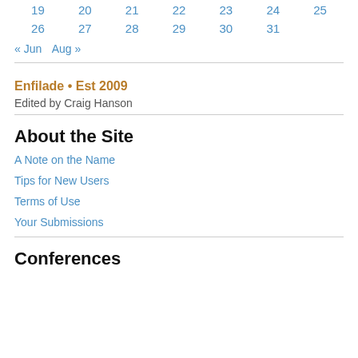| 19 | 20 | 21 | 22 | 23 | 24 | 25 |
| 26 | 27 | 28 | 29 | 30 | 31 |  |
« Jun   Aug »
Enfilade • Est 2009
Edited by Craig Hanson
About the Site
A Note on the Name
Tips for New Users
Terms of Use
Your Submissions
Conferences